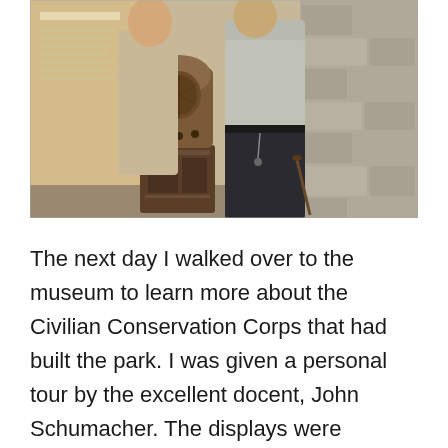[Figure (photo): Two people standing inside a museum exhibit beside a vintage wooden cathedral radio on a small dark wooden cabinet. Museum display panels are visible on the left, and a stone wall is visible on the right. One person appears to be a park ranger in uniform.]
The next day I walked over to the museum to learn more about the Civilian Conservation Corps that had built the park. I was given a personal tour by the excellent docent, John Schumacher. The displays were extremely well done and John supplied a wealth of additional information about the Depression and